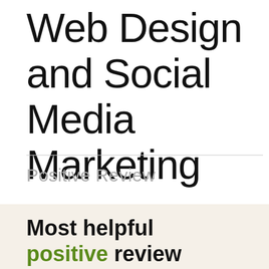Web Design and Social Media Marketing
Positive Review
Most helpful positive review